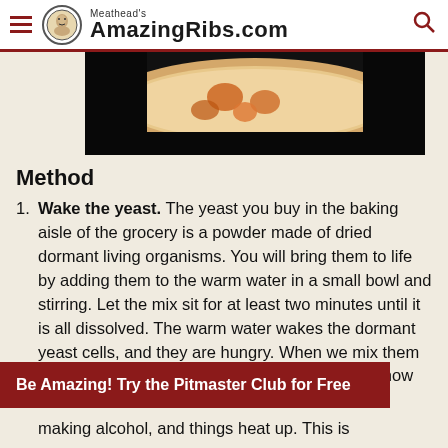Meathead's AmazingRibs.com
[Figure (photo): Photo of a pizza or flatbread with toppings on a dark plate, partially visible at top of page]
Method
Wake the yeast. The yeast you buy in the baking aisle of the grocery is a powder made of dried dormant living organisms. You will bring them to life by adding them to the warm water in a small bowl and stirring. Let the mix sit for at least two minutes until it is all dissolved. The warm water wakes the dormant yeast cells, and they are hungry. When we mix them with the flour, they will rejoice at the feast and chow down. They
Be Amazing! Try the Pitmaster Club for Free
making alcohol, and things heat up. This is